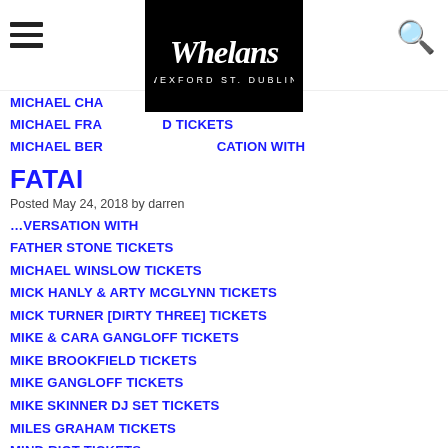Whelans [logo] navigation header
MICHAEL CHA... [partially obscured]
MICHAEL FRA... TICKETS [partially obscured]
MICHAEL BER... ...ATION WITH [partially obscured]
FATAI
Posted May 24, 2018 by darren
...VERSATION WITH [partially obscured]
FATHER STONE TICKETS
MICHAEL WINSLOW TICKETS
MICK HANLY & ARTY MCGLYNN TICKETS
MICK TURNER [DIRTY THREE] TICKETS
MIKE & CARA GANGLOFF TICKETS
MIKE BROOKFIELD TICKETS
MIKE GANGLOFF TICKETS
MIKE SKINNER DJ SET TICKETS
MILES GRAHAM TICKETS
MIND RIOT TICKETS
MIRIAM DONOHUE TICKETS
MISTERWIVES TICKETS
MO HAT MO GHEANSAI & FRIENDS TICKETS
MORE TICKETS [partially cut off]